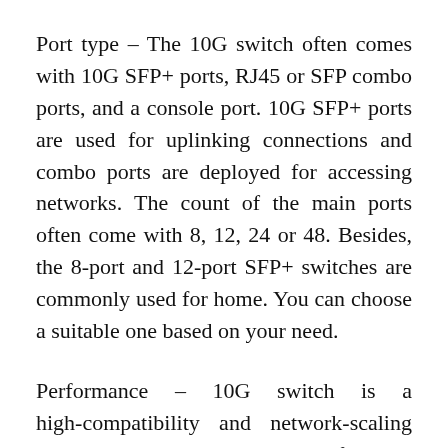Port type – The 10G switch often comes with 10G SFP+ ports, RJ45 or SFP combo ports, and a console port. 10G SFP+ ports are used for uplinking connections and combo ports are deployed for accessing networks. The count of the main ports often come with 8, 12, 24 or 48. Besides, the 8-port and 12-port SFP+ switches are commonly used for home. You can choose a suitable one based on your need.
Performance – 10G switch is a high-compatibility and network-scaling application. It supports advanced features, including MLAG, SFLOW, SNMP, etc. And it facilitates the rapid service deployment and management for both traditional/IP/IP6 networks. You can choose